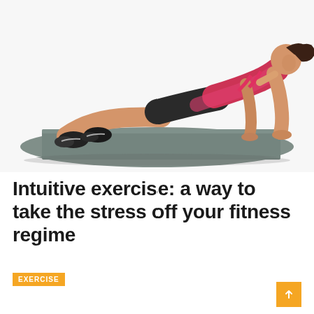[Figure (photo): A woman in a pink tank top and black shorts performing a plank exercise position on a grey yoga mat against a white background. She is in a high plank with arms extended, facing right.]
Intuitive exercise: a way to take the stress off your fitness regime
EXERCISE